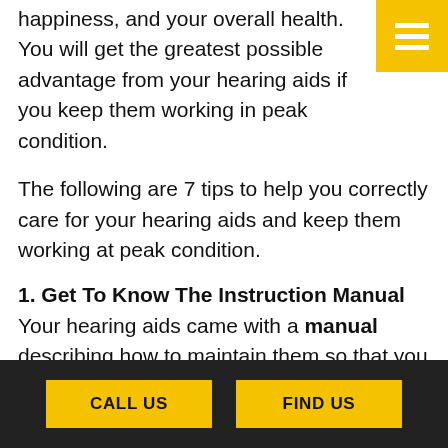happiness, and your overall health. You will get the greatest possible advantage from your hearing aids if you keep them working in peak condition.
The following are 7 tips to help you correctly care for your hearing aids and keep them working at peak condition.
1. Get To Know The Instruction Manual
Your hearing aids came with a manual describing how to maintain them so that you can experience the best results. Many technical problems you
CALL US    FIND US